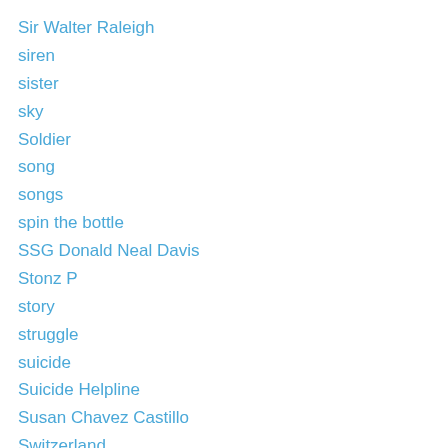Sir Walter Raleigh
siren
sister
sky
Soldier
song
songs
spin the bottle
SSG Donald Neal Davis
Stonz P
story
struggle
suicide
Suicide Helpline
Susan Chavez Castillo
Switzerland
tarot cards
tattoo
tattoos
tavern